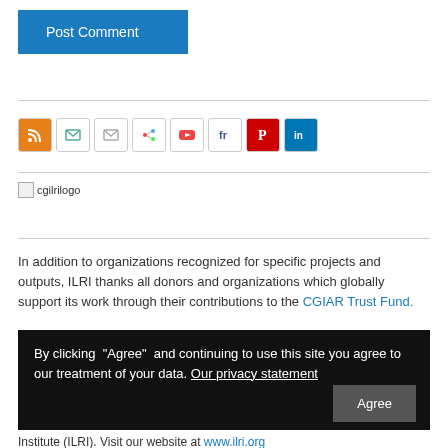[Figure (other): Blue 'Post Comment' button]
[Figure (other): Row of social media icons: RSS (orange), two email/share icons, colorful social icon, YouTube, fr, Pinterest (red), LinkedIn (blue)]
[Figure (logo): Broken image placeholder labeled 'cgilrilogo']
In addition to organizations recognized for specific projects and outputs, ILRI thanks all donors and organizations which globally support its work through their contributions to the CGIAR Trust Fund.
By clicking "Agree" and continuing to use this site you agree to our treatment of your data. Our privacy statement
Institute (ILRI). Visit our website at www.ilri.org